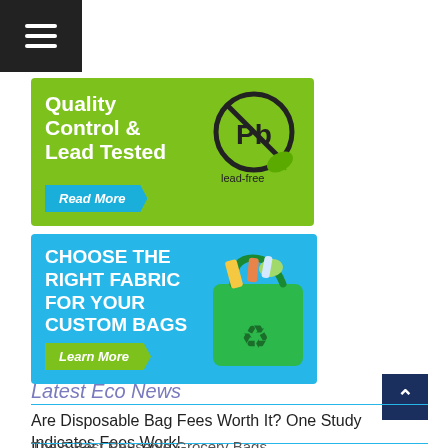[Figure (other): Hamburger menu icon (three horizontal white lines on dark background)]
[Figure (infographic): Green banner advertisement: 'Quality Control & Lead Tested' with a lead-free (Pb crossed out) badge and a 'Read More' button]
[Figure (infographic): Blue banner advertisement: 'CHOOSE THE RIGHT FABRIC FOR YOUR CUSTOM BAGS' with an illustration of a green reusable bag filled with groceries and a 'Learn More' button]
Latest Eco News
Are Disposable Bag Fees Worth It? One Study Indicates Fees Work!
The 5 Best Reusable Grocery Bags...